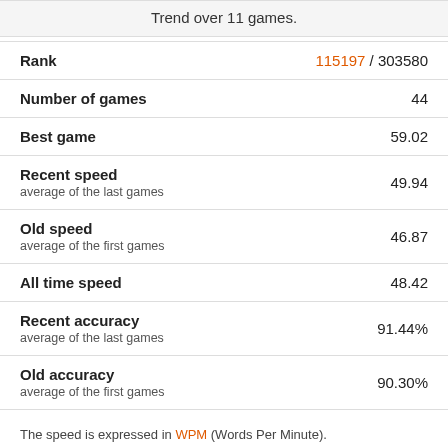Trend over 11 games.
| Metric | Value |
| --- | --- |
| Rank | 115197 / 303580 |
| Number of games | 44 |
| Best game | 59.02 |
| Recent speed
average of the last games | 49.94 |
| Old speed
average of the first games | 46.87 |
| All time speed | 48.42 |
| Recent accuracy
average of the last games | 91.44% |
| Old accuracy
average of the first games | 90.30% |
The speed is expressed in WPM (Words Per Minute).